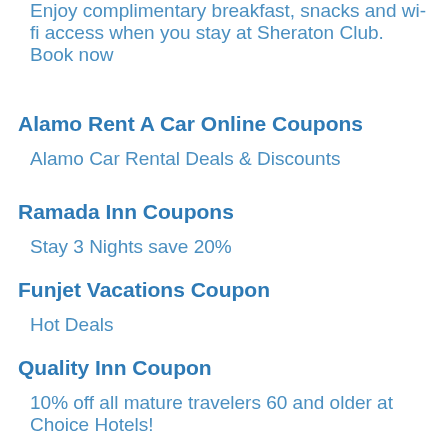Enjoy complimentary breakfast, snacks and wi-fi access when you stay at Sheraton Club. Book now
Alamo Rent A Car Online Coupons
Alamo Car Rental Deals & Discounts
Ramada Inn Coupons
Stay 3 Nights save 20%
Funjet Vacations Coupon
Hot Deals
Quality Inn Coupon
10% off all mature travelers 60 and older at Choice Hotels!
Comfort Suites Coupon